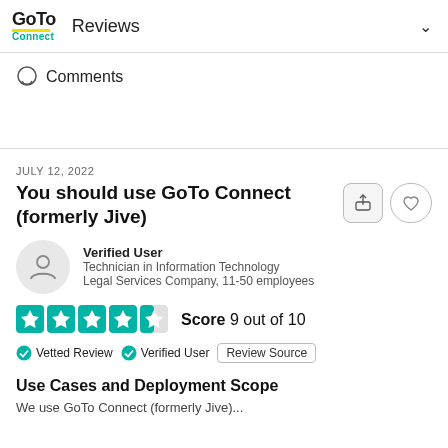GoTo Connect Reviews
Comments
JULY 12, 2022
You should use GoTo Connect (formerly Jive)
Verified User
Technician in Information Technology
Legal Services Company, 11-50 employees
Score 9 out of 10
Vetted Review   Verified User   Review Source
Use Cases and Deployment Scope
We use GoTo Connect (formerly Jive)...